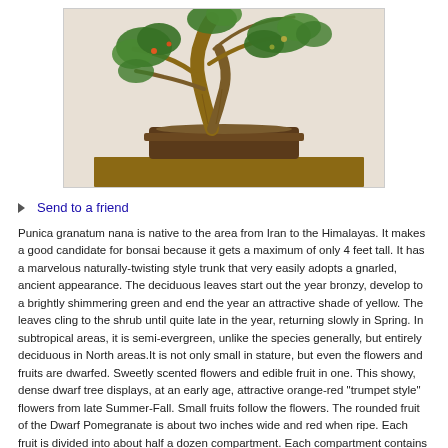[Figure (photo): Bonsai tree (Punica granatum nana / Dwarf Pomegranate) in a dark brown rectangular pot, with gnarled twisting trunk and green leafy branches with small fruits, displayed on a wooden surface against a white wall background.]
Send to a friend
Punica granatum nana is native to the area from Iran to the Himalayas. It makes a good candidate for bonsai because it gets a maximum of only 4 feet tall. It has a marvelous naturally-twisting style trunk that very easily adopts a gnarled, ancient appearance. The deciduous leaves start out the year bronzy, develop to a brightly shimmering green and end the year an attractive shade of yellow. The leaves cling to the shrub until quite late in the year, returning slowly in Spring. In subtropical areas, it is semi-evergreen, unlike the species generally, but entirely deciduous in North areas.It is not only small in stature, but even the flowers and fruits are dwarfed. Sweetly scented flowers and edible fruit in one. This showy, dense dwarf tree displays, at an early age, attractive orange-red "trumpet style" flowers from late Summer-Fall. Small fruits follow the flowers. The rounded fruit of the Dwarf Pomegranate is about two inches wide and red when ripe. Each fruit is divided into about half a dozen compartment. Each compartment contains many small seeds surrounded by skinny pinkish